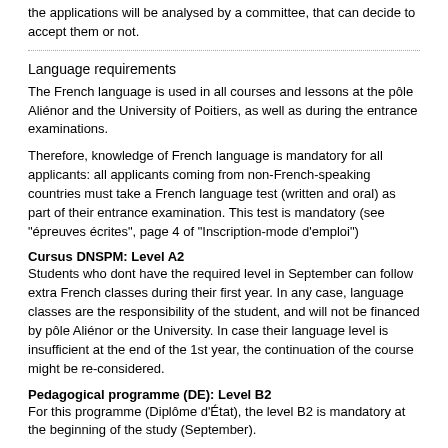the applications will be analysed by a committee, that can decide to accept them or not.
Language requirements
The French language is used in all courses and lessons at the pôle Aliénor and the University of Poitiers, as well as during the entrance examinations.
Therefore, knowledge of French language is mandatory for all applicants: all applicants coming from non-French-speaking countries must take a French language test (written and oral) as part of their entrance examination. This test is mandatory (see "épreuves écrites", page 4 of "Inscription-mode d'emploi")
Cursus DNSPM: Level A2
Students who dont have the required level in September can follow extra French classes during their first year. In any case, language classes are the responsibility of the student, and will not be financed by pôle Aliénor or the University. In case their language level is insufficient at the end of the 1st year, the continuation of the course might be re-considered.
Pedagogical programme (DE): Level B2
For this programme (Diplôme d'État), the level B2 is mandatory at the beginning of the study (September).
National regulations and Visa information
http://www.campusfrance.org/en/rubrique/preparer-son-sejour [7]